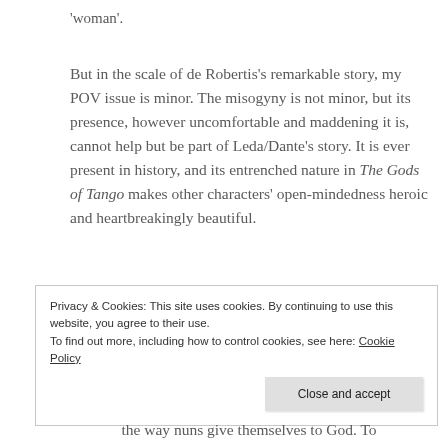'woman'.
But in the scale of de Robertis's remarkable story, my POV issue is minor. The misogyny is not minor, but its presence, however uncomfortable and maddening it is, cannot help but be part of Leda/Dante's story. It is ever present in history, and its entrenched nature in The Gods of Tango makes other characters' open-mindedness heroic and heartbreakingly beautiful.
Privacy & Cookies: This site uses cookies. By continuing to use this website, you agree to their use.
To find out more, including how to control cookies, see here: Cookie Policy
the way nuns give themselves to God. To